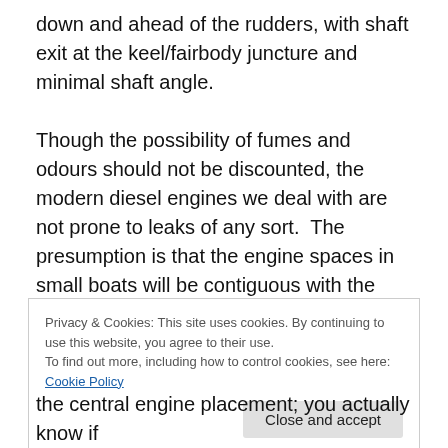down and ahead of the rudders, with shaft exit at the keel/fairbody juncture and minimal shaft angle.
Though the possibility of fumes and odours should not be discounted, the modern diesel engines we deal with are not prone to leaks of any sort.  The presumption is that the engine spaces in small boats will be contiguous with the accommodations regardless of the boat style and manufacturers construct accordingly, there is zero tolerance for fuel, exhaust or crankcase fume leakage. This was not historically the case and some older diesels
Privacy & Cookies: This site uses cookies. By continuing to use this website, you agree to their use.
To find out more, including how to control cookies, see here: Cookie Policy
the central engine placement; you actually know if